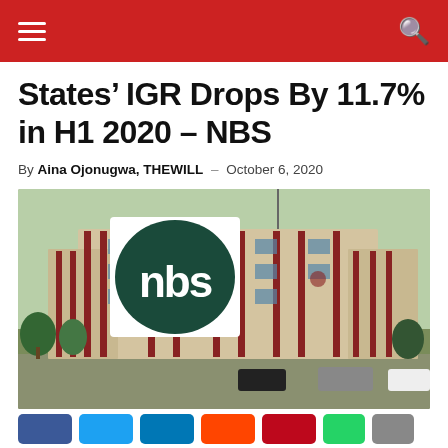States’ IGR Drops By 11.7% in H1 2020 – NBS
By Aina Ojonugwa, THEWILL – October 6, 2020
[Figure (photo): NBS logo overlaid on photo of NBS building (multi-storey red and beige office building with trees and parked cars in foreground)]